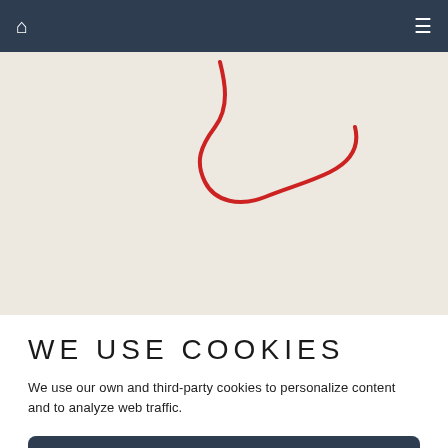Navigation bar with home icon and menu icon
[Figure (map): Partial map view with a red hand-drawn route/path overlaid on a beige map background]
WE USE COOKIES
We use our own and third-party cookies to personalize content and to analyze web traffic.
ACCEPT
REJECT